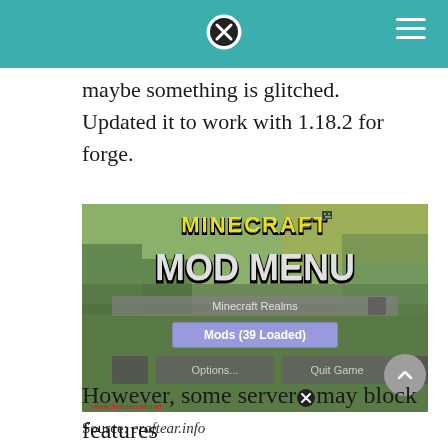maybe something is glitched. Updated it to work with 1.18.2 for forge.
[Figure (screenshot): Minecraft Mod Menu screenshot showing the title screen with MINECRAFT MOD MENU logo, Mods (39 Loaded) button, Options and Quit Game buttons, with watermark www.9minecraft.net]
Source: craftear.info
However, some servers may block features